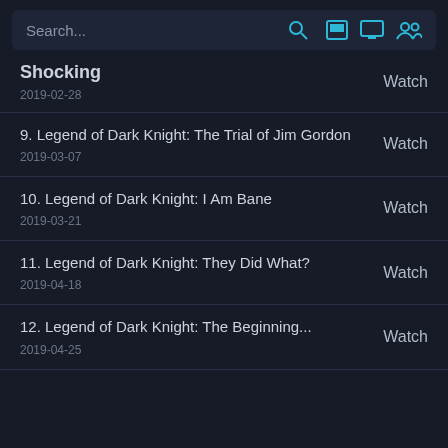Search...
Shocking
2019-02-28
Watch
9. Legend of Dark Knight: The Trial of Jim Gordon
2019-03-07
Watch
10. Legend of Dark Knight: I Am Bane
2019-03-21
Watch
11. Legend of Dark Knight: They Did What?
2019-04-18
Watch
12. Legend of Dark Knight: The Beginning...
2019-04-25
Watch